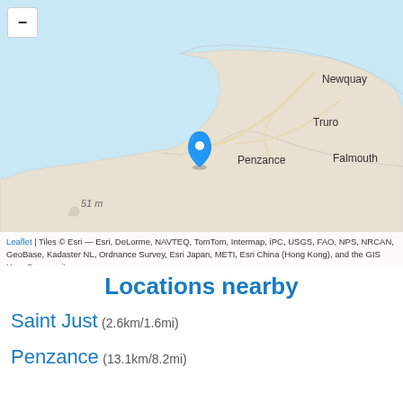[Figure (map): Interactive map showing Cornwall peninsula (southwest England) with location pin near Penzance. Labels include Newquay, Truro, Falmouth, Penzance, and '51 m' for a small island. Blue location marker pin placed west of Penzance. Zoom-out button visible top-left.]
Leaflet | Tiles © Esri — Esri, DeLorme, NAVTEQ, TomTom, Intermap, iPC, USGS, FAO, NPS, NRCAN, GeoBase, Kadaster NL, Ordnance Survey, Esri Japan, METI, Esri China (Hong Kong), and the GIS User Community
Locations nearby
Saint Just (2.6km/1.6mi)
Penzance (13.1km/8.2mi)